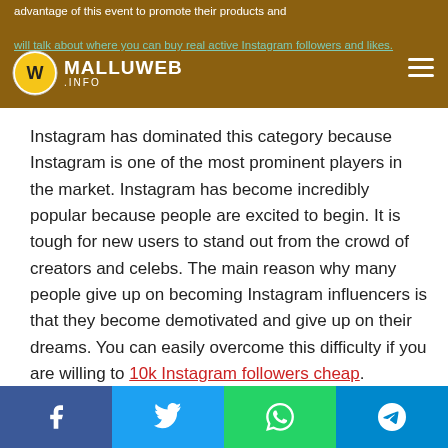advantage of this event to promote their products and will talk about where you can buy real active Instagram followers and likes.
Instagram has dominated this category because Instagram is one of the most prominent players in the market. Instagram has become incredibly popular because people are excited to begin. It is tough for new users to stand out from the crowd of creators and celebs. The main reason why many people give up on becoming Instagram influencers is that they become demotivated and give up on their dreams. You can easily overcome this difficulty if you are willing to 10k Instagram followers cheap.
Why SMM Buz is The Best
Facebook Twitter WhatsApp Telegram